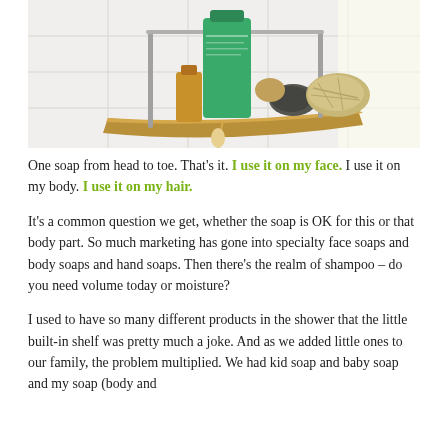[Figure (photo): A bathroom shower caddy/shelf made of bamboo and metal, holding a green shampoo bottle, a small amber bottle, a pumice stone, a loofah, and a natural sponge. The background shows white tiles and a bright window.]
One soap from head to toe. That's it. I use it on my face. I use it on my body. I use it on my hair.
It's a common question we get, whether the soap is OK for this or that body part. So much marketing has gone into specialty face soaps and body soaps and hand soaps. Then there's the realm of shampoo – do you need volume today or moisture?
I used to have so many different products in the shower that the little built-in shelf was pretty much a joke. And as we added little ones to our family, the problem multiplied. We had kid soap and baby soap and my soap (body and